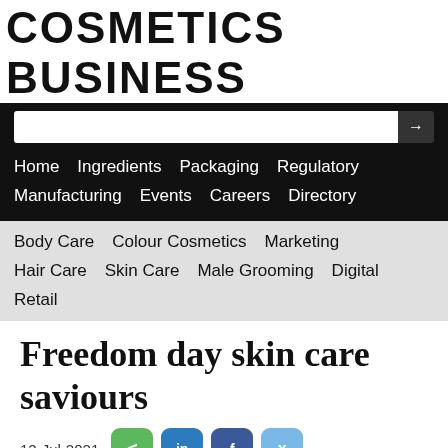COSMETICS BUSINESS
Home   Ingredients   Packaging   Regulatory   Manufacturing   Events   Careers   Directory
Body Care   Colour Cosmetics   Marketing   Hair Care   Skin Care   Male Grooming   Digital   Retail
Freedom day skin care saviours
12-Jul-2021
Skin Care
As we prepare to ease up on national restrictions you